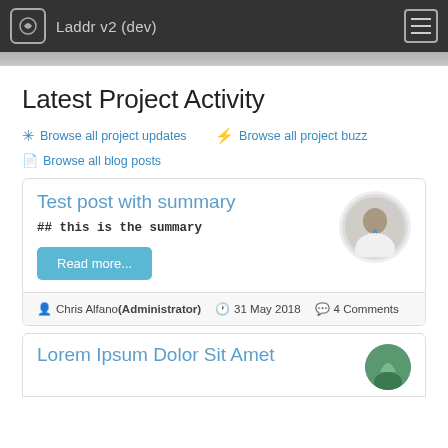Laddr v2 (dev)
Latest Project Activity
Browse all project updates
Browse all project buzz
Browse all blog posts
Test post with summary
## this is the summary
Read more...
Chris Alfano(Administrator)  31 May 2018  4 Comments
Lorem Ipsum Dolor Sit Amet